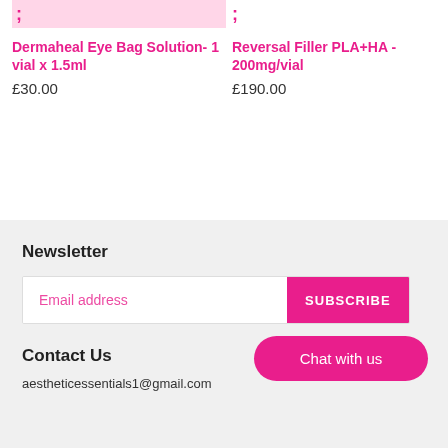;
;
Dermaheal Eye Bag Solution- 1 vial x 1.5ml
£30.00
Reversal Filler PLA+HA - 200mg/vial
£190.00
Newsletter
Email address
SUBSCRIBE
Contact Us
aestheticessentials1@gmail.com
Chat with us